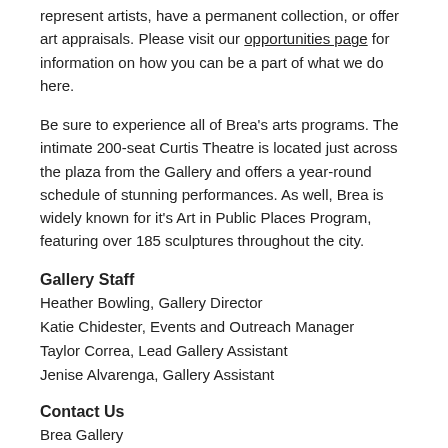represent artists, have a permanent collection, or offer art appraisals. Please visit our opportunities page for information on how you can be a part of what we do here.
Be sure to experience all of Brea's arts programs. The intimate 200-seat Curtis Theatre is located just across the plaza from the Gallery and offers a year-round schedule of stunning performances. As well, Brea is widely known for it's Art in Public Places Program, featuring over 185 sculptures throughout the city.
Gallery Staff
Heather Bowling, Gallery Director
Katie Chidester, Events and Outreach Manager
Taylor Correa, Lead Gallery Assistant
Jenise Alvarenga, Gallery Assistant
Contact Us
Brea Gallery